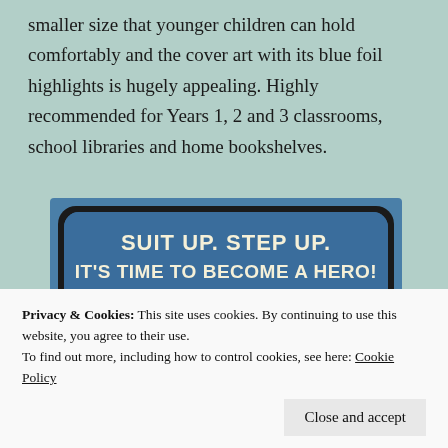smaller size that younger children can hold comfortably and the cover art with its blue foil highlights is hugely appealing. Highly recommended for Years 1, 2 and 3 classrooms, school libraries and home bookshelves.
[Figure (photo): Book cover showing 'MARV' in large white letters with blue outline on dark background, with text above reading 'SUIT UP. STEP UP. IT'S TIME TO BECOME A HERO!']
Privacy & Cookies: This site uses cookies. By continuing to use this website, you agree to their use.
To find out more, including how to control cookies, see here: Cookie Policy